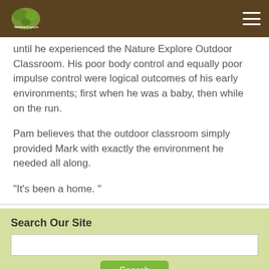Nature Explore Outdoor Classroom logo and navigation
until he experienced the Nature Explore Outdoor Classroom. His poor body control and equally poor impulse control were logical outcomes of his early environments; first when he was a baby, then while on the run.
Pam believes that the outdoor classroom simply provided Mark with exactly the environment he needed all along.
“It’s been a home. ”
Search Our Site
Categories
Certified Classrooms